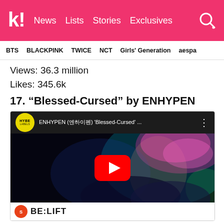k! News Lists Stories Exclusives
BTS BLACKPINK TWICE NCT Girls' Generation aespa
Views: 36.3 million
Likes: 345.6k
17. “Blessed-Cursed” by ENHYPEN
[Figure (screenshot): YouTube embed showing ENHYPEN (엔하이펜) 'Blessed-Cursed' music video with HYBE LABELS channel logo, pink-haired member in neon lighting, red YouTube play button, and BE:LIFT label bar at bottom]